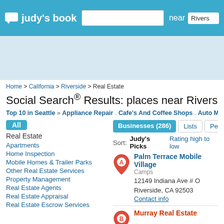judy's book — near Riverside
[Figure (screenshot): Judy's Book logo with speech bubble icon and search bar]
Home > California > Riverside > Real Estate
Social Search® Results: places near Riverside, CA (0...
Top 10 in Seattle » Appliance Repair . Cafe's And Coffee Shops . Auto Mechanics
All
Real Estate
Apartments
Home Inspection
Mobile Homes & Trailer Parks
Other Real Estate Services
Property Management
Real Estate Agents
Real Estate Appraisal
Real Estate Escrow Services
Businesses (286)  Lists  Peop...
Sort: Judy's Picks   Rating high to low
Palm Terrace Mobile Village
Camps
12149 Indiana Ave # O
Riverside, CA 92503
Contact info
Murray Real Estate